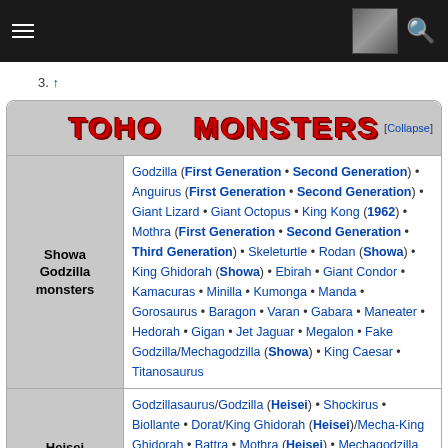Wikipedia mobile navigation header
3. ↑
| Category | Monsters |
| --- | --- |
| Showa Godzilla monsters | Godzilla (First Generation • Second Generation) • Anguirus (First Generation • Second Generation) • Giant Lizard • Giant Octopus • King Kong (1962) • Mothra (First Generation • Second Generation • Third Generation) • Skeleturtle • Rodan (Showa) • King Ghidorah (Showa) • Ebirah • Giant Condor • Kamacuras • Minilla • Kumonga • Manda • Gorosaurus • Baragon • Varan • Gabara • Maneater • Hedorah • Gigan • Jet Jaguar • Megalon • Fake Godzilla/Mechagodzilla (Showa) • King Caesar • Titanosaurus |
| Heisei Godzilla monsters | Godzillasaurus/Godzilla (Heisei) • Shockirus • Biollante • Dorat/King Ghidorah (Heisei)/Mecha-King Ghidorah • Battra • Mothra (Heisei) • Mechagodzilla (Heisei)/Super Mechagodzilla • Rodan (Heisei)/Fire Rodan • BabyGodzilla/LittleGodzilla/Godzilla Junior • Fairy Mothra • SpaceGodzilla • MOGUERA • Destoroyah |
|  | Godzilla (Godzilla 2000 • vs. Megaguirus • GMK • Kiniu Series ... |